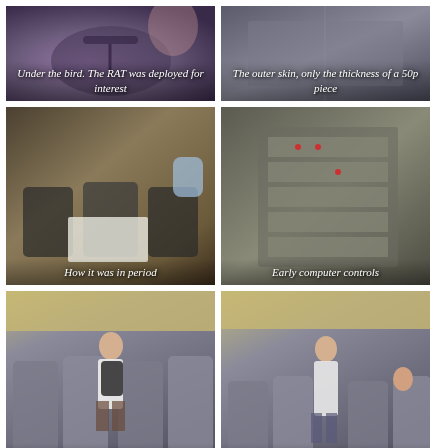[Figure (photo): View under an aircraft bird/nose with the RAT (Ram Air Turbine) deployed. Caption: Under the bird. The RAT was deployed for interest]
[Figure (photo): Close-up of aircraft outer skin panel, very thin. Caption: The outer skin, only the thickness of a 50p piece]
[Figure (photo): Interior of aircraft cabin showing period seating with table set up. Caption: How it was in period]
[Figure (photo): Early computer control panels/electronics rack inside aircraft. Caption: Early computer controls]
[Figure (photo): Person with backpack boarding the aircraft cabin, silver seats visible. Caption: Boarding]
[Figure (photo): Aircraft cabin interior with person standing, passengers seated, ready for take off. Caption: Ready for take off]
[Figure (photo): Partial view of aircraft exterior panels or interior bulkhead area, light-coloured surface]
[Figure (photo): Aircraft cabin ceiling with overhead lighting strip visible]